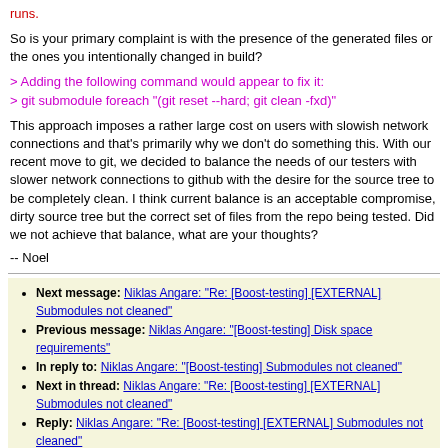runs.
So is your primary complaint is with the presence of the generated files or the ones you intentionally changed in build?
> Adding the following command would appear to fix it:
> git submodule foreach "(git reset --hard; git clean -fxd)"
This approach imposes a rather large cost on users with slowish network connections and that's primarily why we don't do something this. With our recent move to git, we decided to balance the needs of our testers with slower network connections to github with the desire for the source tree to be completely clean. I think current balance is an acceptable compromise, dirty source tree but the correct set of files from the repo being tested. Did we not achieve that balance, what are your thoughts?
-- Noel
Next message: Niklas Angare: "Re: [Boost-testing] [EXTERNAL] Submodules not cleaned"
Previous message: Niklas Angare: "[Boost-testing] Disk space requirements"
In reply to: Niklas Angare: "[Boost-testing] Submodules not cleaned"
Next in thread: Niklas Angare: "Re: [Boost-testing] [EXTERNAL] Submodules not cleaned"
Reply: Niklas Angare: "Re: [Boost-testing] [EXTERNAL] Submodules not cleaned"
Boost-testing list run by mbergal at meta-comm.com